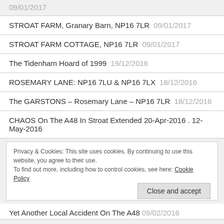09/01/2017
STROAT FARM, Granary Barn, NP16 7LR 09/01/2017
STROAT FARM COTTAGE, NP16 7LR 09/01/2017
The Tidenham Hoard of 1999 19/12/2016
ROSEMARY LANE: NP16 7LU & NP16 7LX 18/12/2016
The GARSTONS – Rosemary Lane – NP16 7LR 18/12/2016
CHAOS On The A48 In Stroat Extended 20-Apr-2016 . 12-May-2016
Privacy & Cookies: This site uses cookies. By continuing to use this website, you agree to their use. To find out more, including how to control cookies, see here: Cookie Policy
Yet Another Local Accident On The A48 09/02/2016